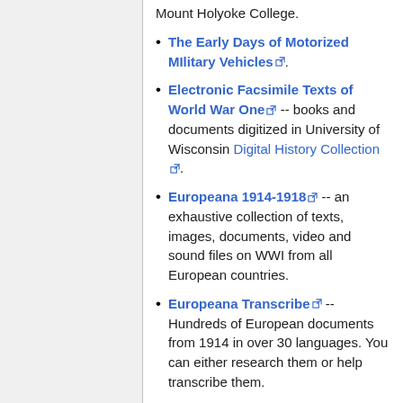Mount Holyoke College.
The Early Days of Motorized MIlitary Vehicles [link].
Electronic Facsimile Texts of World War One [link] -- books and documents digitized in University of Wisconsin Digital History Collection [link].
Europeana 1914-1918 [link] -- an exhaustive collection of texts, images, documents, video and sound files on WWI from all European countries.
Europeana Transcribe [link] -- Hundreds of European documents from 1914 in over 30 languages. You can either research them or help transcribe them.
First World War: Index [link] -- an